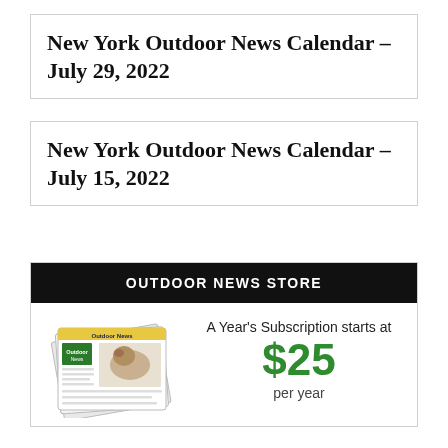New York Outdoor News Calendar – July 29, 2022
New York Outdoor News Calendar – July 15, 2022
OUTDOOR NEWS STORE
[Figure (illustration): Stack of Outdoor News newspapers]
A Year's Subscription starts at $25 per year